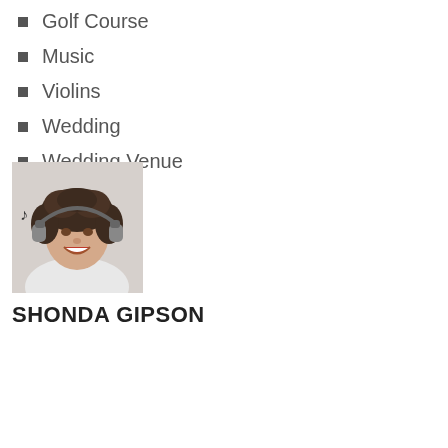Golf Course
Music
Violins
Wedding
Wedding Venue
[Figure (photo): Young woman with curly hair smiling, wearing headphones, white top, against light background]
SHONDA GIPSON